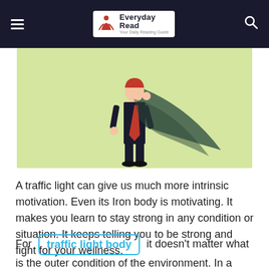Everyday Read
[Figure (illustration): Cartoon illustration of a businessman in a suit and red tie, wearing a dark cape, standing confidently on a yellow-green background]
A traffic light can give us much more intrinsic motivation. Even its Iron body is motivating. It makes you learn to stay strong in any condition or situation. It keeps telling you to be strong and fight for your wellness.
For traffic light body it doesn't matter what is the outer condition of the environment. In a condition of too much noise, pollution, crowd, Heat, and so much intense environment. Then also it always does its job of guiding